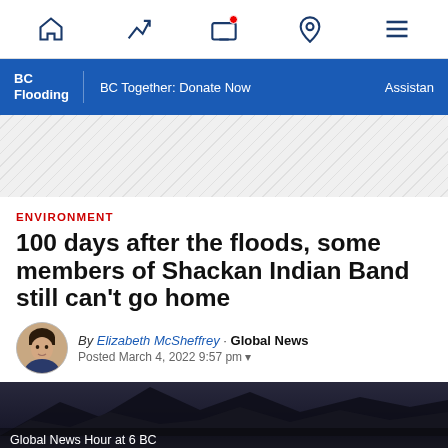Navigation bar with home, trending, live TV, location, and menu icons
BC Flooding | BC Together: Donate Now | Assistance
[Figure (other): Hatched/striped advertisement or promotional banner area]
ENVIRONMENT
100 days after the floods, some members of Shackan Indian Band still can’t go home
By Elizabeth McSheffrey · Global News
Posted March 4, 2022 9:57 pm
[Figure (screenshot): Video thumbnail showing dark mountain silhouette at night with caption: Global News Hour at 6 BC / Shackan Indian Band members finally return home]